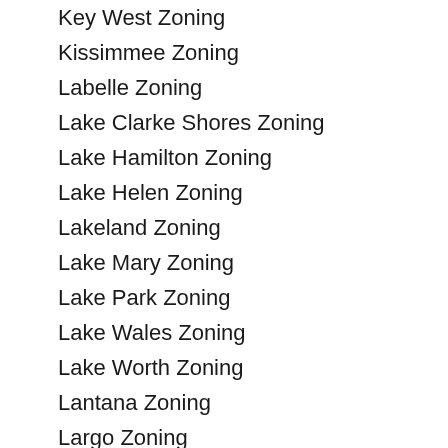Key West Zoning
Kissimmee Zoning
Labelle Zoning
Lake Clarke Shores Zoning
Lake Hamilton Zoning
Lake Helen Zoning
Lakeland Zoning
Lake Mary Zoning
Lake Park Zoning
Lake Wales Zoning
Lake Worth Zoning
Lantana Zoning
Largo Zoning
Lauderdale By The Sea Zoning
Lauderdale Lakes Zoning
Lauderhill Zoning
Layton Zoning